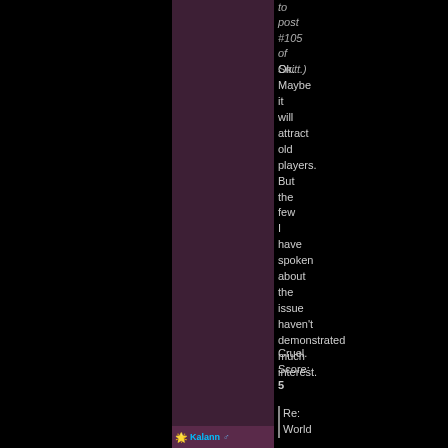to post #105 of Snitt.)
Ok. Maybe it will attract old players. But the few I have spoken about the issue haven't demonstrated much interest.
Cruel. Score: 5
Re: World
Kalann ♂